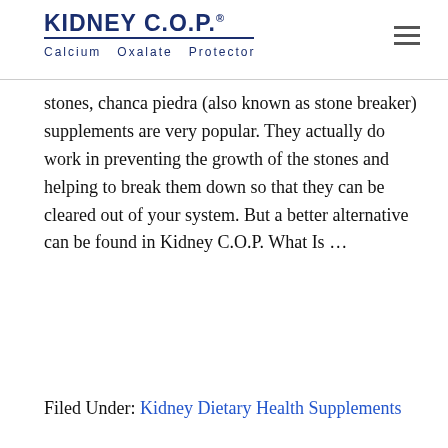KIDNEY C.O.P.® Calcium Oxalate Protector
stones, chanca piedra (also known as stone breaker) supplements are very popular. They actually do work in preventing the growth of the stones and helping to break them down so that they can be cleared out of your system. But a better alternative can be found in Kidney C.O.P. What Is …
Read More »
Filed Under: Kidney Dietary Health Supplements